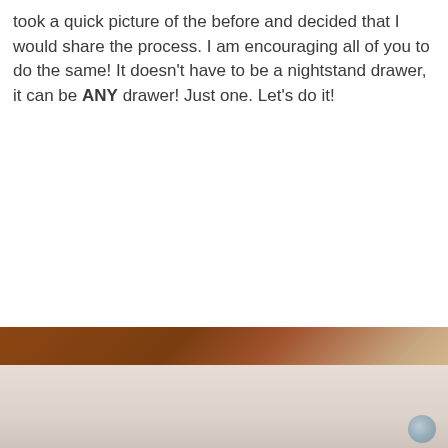took a quick picture of the before and decided that I would share the process. I am encouraging all of you to do the same! It doesn't have to be a nightstand drawer, it can be ANY drawer! Just one. Let's do it!
[Figure (photo): Bottom portion of a photo showing a brown wooden surface (top) and a light pinkish-beige interior of a drawer (bottom), partially visible at the bottom of the page.]